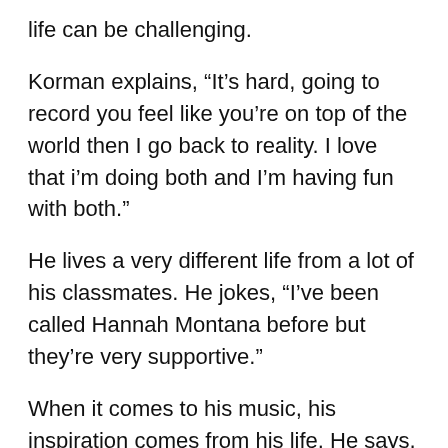life can be challenging.
Korman explains, “It’s hard, going to record you feel like you’re on top of the world then I go back to reality. I love that i’m doing both and I’m having fun with both.”
He lives a very different life from a lot of his classmates. He jokes, “I’ve been called Hannah Montana before but they’re very supportive.”
When it comes to his music, his inspiration comes from his life. He says, “I could be having a fun night with producers listening to music and something will spark in my head. It’s all very random. It’s all things that have happened to me.”